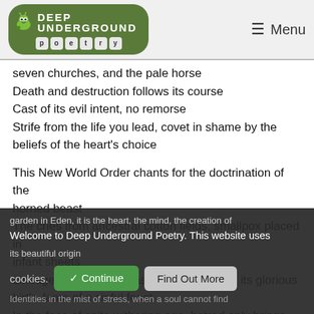Deep Underground Poetry — Menu
seven churches, and the pale horse
Death and destruction follows its course
Cast of its evil intent, no remorse
Strife from the life you lead, covet in shame by the beliefs of the heart's choice
This New World Order chants for the doctrination of the horned beast
The cries from ancestral cotton fields, smallpox placed in infant sheets
Lineage denigration, mass killings, famine, its glorious birth, fame of a sinful feast
In the face of spite withering age, hatred only brings the telltale sings of crows feet
Dog bags and sagging skin
The beauty of Heaven is not in the illusion of a rose garden in Eden, it is the heart, the mind, the creation of its beautiful origin
Identities in the mist of stress, when a soul cannot find
Welcome to Deep Underground Poetry. This website uses cookies.
Continue   Find Out More